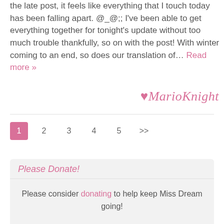the late post, it feels like everything that I touch today has been falling apart. @_@;; I've been able to get everything together for tonight's update without too much trouble thankfully, so on with the post! With winter coming to an end, so does our translation of… Read more »
♥MarioKnight
1  2  3  4  5  >>
Please Donate!
Please consider donating to help keep Miss Dream going!